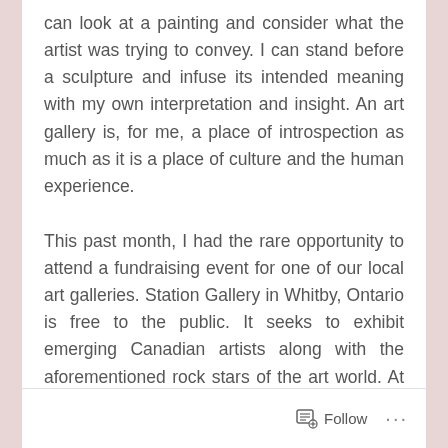can look at a painting and consider what the artist was trying to convey. I can stand before a sculpture and infuse its intended meaning with my own interpretation and insight. An art gallery is, for me, a place of introspection as much as it is a place of culture and the human experience.
This past month, I had the rare opportunity to attend a fundraising event for one of our local art galleries. Station Gallery in Whitby, Ontario is free to the public. It seeks to exhibit emerging Canadian artists along with the aforementioned rock stars of the art world. At a time in my province's history where sweeping and hard-hitting cuts are being made to arts and education – and particularly arts education – in the public school system by a recently elected government seeking to establish
Follow ···